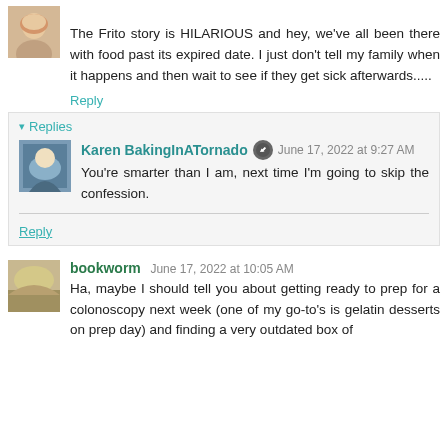The Frito story is HILARIOUS and hey, we've all been there with food past its expired date. I just don't tell my family when it happens and then wait to see if they get sick afterwards.....
Reply
Replies
Karen BakingInATornado June 17, 2022 at 9:27 AM
You're smarter than I am, next time I'm going to skip the confession.
Reply
bookworm June 17, 2022 at 10:05 AM
Ha, maybe I should tell you about getting ready to prep for a colonoscopy next week (one of my go-to's is gelatin desserts on prep day) and finding a very outdated box of